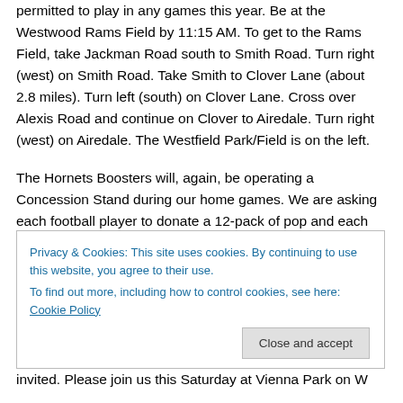permitted to play in any games this year. Be at the Westwood Rams Field by 11:15 AM. To get to the Rams Field, take Jackman Road south to Smith Road. Turn right (west) on Smith Road. Take Smith to Clover Lane (about 2.8 miles). Turn left (south) on Clover Lane. Cross over Alexis Road and continue on Clover to Airedale. Turn right (west) on Airedale. The Westfield Park/Field is on the left.
The Hornets Boosters will, again, be operating a Concession Stand during our home games. We are asking each football player to donate a 12-pack of pop and each cheerleader to donate a case of bottled water. Please
Privacy & Cookies: This site uses cookies. By continuing to use this website, you agree to their use.
To find out more, including how to control cookies, see here: Cookie Policy
Close and accept
invited. Please join us this Saturday at Vienna Park on W